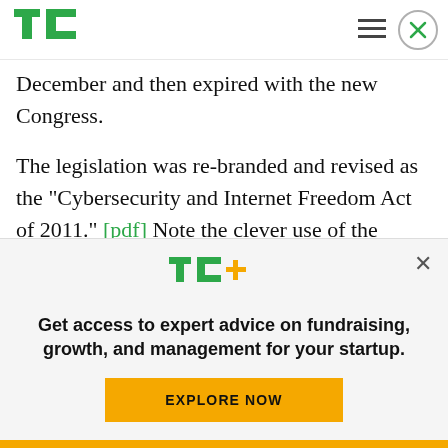[Figure (logo): TechCrunch TC green logo in header]
December and then expired with the new Congress.
The legislation was re-branded and revised as the “Cybersecurity and Internet Freedom Act of 2011.” [pdf] Note the clever use of the phrase Internet Freedom for a bill that gives the government power
[Figure (logo): TechCrunch TC+ logo in popup overlay]
Get access to expert advice on fundraising, growth, and management for your startup.
EXPLORE NOW